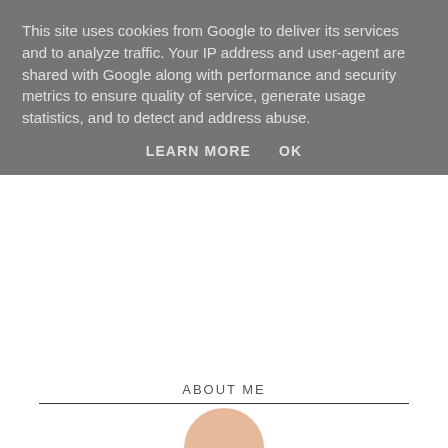This site uses cookies from Google to deliver its services and to analyze traffic. Your IP address and user-agent are shared with Google along with performance and security metrics to ensure quality of service, generate usage statistics, and to detect and address abuse.
LEARN MORE
OK
ABOUT ME
[Figure (photo): Partial view of a person's head/avatar at the bottom of the page]